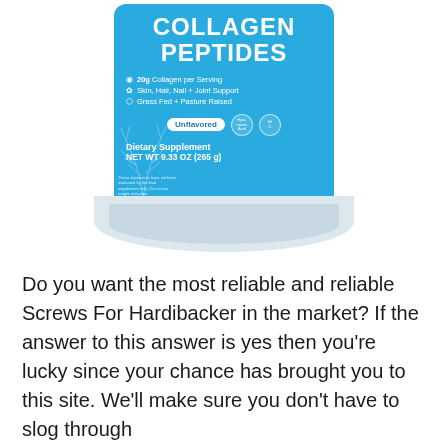[Figure (photo): Product photo of a Collagen Peptides supplement container. The can has a teal/blue label showing: COLLAGEN PEPTIDES, 20g Collagen per Serving, Skin Hair Nail + Joint Support, Grass Fed + Pasture Raised, Unflavored, Dietary Supplement, NET WT 9.33 OZ (265 g). The container has a white/grey base and is shown from the front.]
Do you want the most reliable and reliable Screws For Hardibacker in the market? If the answer to this answer is yes then you’re lucky since your chance has brought you to this site. We’ll make sure you don’t have to slog through